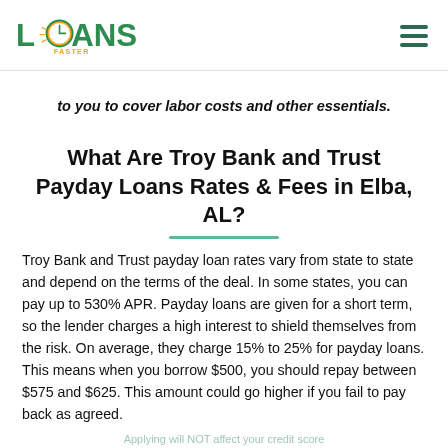LOANS FASTER [logo]
to you to cover labor costs and other essentials.
What Are Troy Bank and Trust Payday Loans Rates & Fees in Elba, AL?
Troy Bank and Trust payday loan rates vary from state to state and depend on the terms of the deal. In some states, you can pay up to 530% APR. Payday loans are given for a short term, so the lender charges a high interest to shield themselves from the risk. On average, they charge 15% to 25% for payday loans. This means when you borrow $500, you should repay between $575 and $625. This amount could go higher if you fail to pay back as agreed.
Applying will NOT affect your credit score
No credit check to apply
How Much Can You Borrow From Troy Ba...